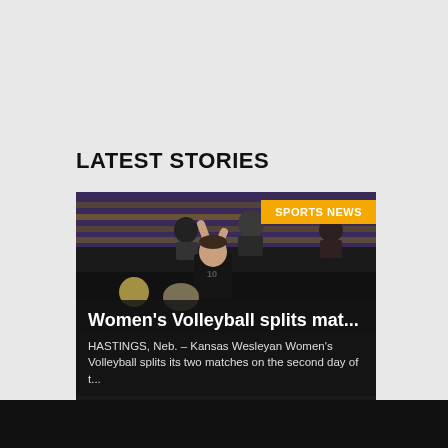LATEST STORIES
[Figure (photo): Volleyball player wearing jersey number 10 serving in a gymnasium with purple and gold bleacher seats in the background. Spectators are visible in the stands.]
Women's Volleyball splits mat...
HASTINGS, Neb. – Kansas Wesleyan Women's Volleyball splits its two matches on the second day of t...